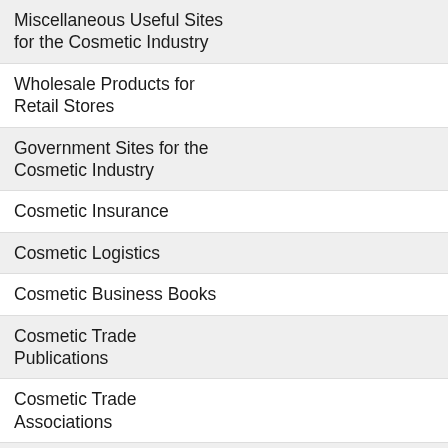Miscellaneous Useful Sites for the Cosmetic Industry
Wholesale Products for Retail Stores
Government Sites for the Cosmetic Industry
Cosmetic Insurance
Cosmetic Logistics
Cosmetic Business Books
Cosmetic Trade Publications
Cosmetic Trade Associations
Business Promotional Products
Research
Cosmetic Consumer Product Testing
Cosmetics Market Research
re m be pr yo U
[Figure (photo): Purple banner card at top right area]
[Figure (photo): Product image showing natural cosmetic ingredients including fruits and plants with HYPO and ORGANIC labels and a Made in USA badge, with text starting with D M cu]